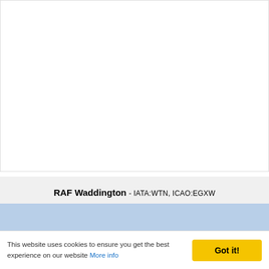[Figure (photo): White blank content area, likely a map or image that did not load]
RAF Waddington - IATA:WTN, ICAO:EGXW
[Figure (photo): Light blue area below the RAF Waddington header, likely a partially loaded map or image]
This website uses cookies to ensure you get the best experience on our website More info  Got it!